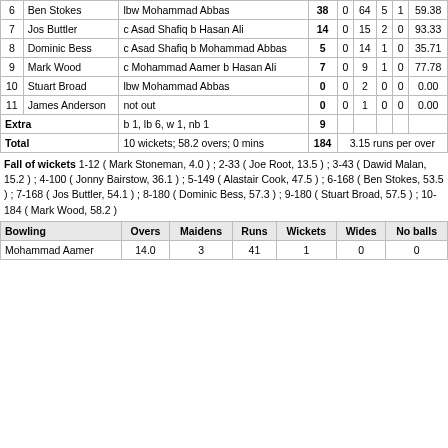| # | Batsman | Dismissal | R | M | B | 4s | 6s | SR |
| --- | --- | --- | --- | --- | --- | --- | --- | --- |
| 6 | Ben Stokes | lbw Mohammad Abbas | 38 | 0 | 64 | 5 | 1 | 59.38 |
| 7 | Jos Buttler | c Asad Shafiq b Hasan Ali | 14 | 0 | 15 | 2 | 0 | 93.33 |
| 8 | Dominic Bess | c Asad Shafiq b Mohammad Abbas | 5 | 0 | 14 | 1 | 0 | 35.71 |
| 9 | Mark Wood | c Mohammad Aamer b Hasan Ali | 7 | 0 | 9 | 1 | 0 | 77.78 |
| 10 | Stuart Broad | lbw Mohammad Abbas | 0 | 0 | 2 | 0 | 0 | 0.00 |
| 11 | James Anderson | not out | 0 | 0 | 1 | 0 | 0 | 0.00 |
| Extra |  | b 1, lb 6, w 1, nb 1 | 9 |  |  |  |  |  |
| Total |  | 10 wickets; 58.2 overs; 0 mins | 184 |  | 3.15 runs per over |  |  |  |
Fall of wickets 1-12 ( Mark Stoneman, 4.0 ) ;   2-33 ( Joe Root, 13.5 ) ;   3-43 ( Dawid Malan, 15.2 ) ;   4-100 ( Jonny Bairstow, 36.1 ) ;   5-149 ( Alastair Cook, 47.5 ) ;   6-168 ( Ben Stokes, 53.5 ) ;   7-168 ( Jos Buttler, 54.1 ) ;   8-180 ( Dominic Bess, 57.3 ) ;   9-180 ( Stuart Broad, 57.5 ) ;   10-184 ( Mark Wood, 58.2 )
| Bowling | Overs | Maidens | Runs | Wickets | Wides | No balls |
| --- | --- | --- | --- | --- | --- | --- |
| Mohammad Aamer | 14.0 | 3 | 41 | 1 | 0 | 0 |